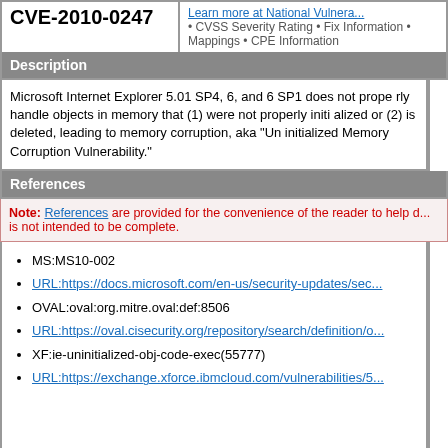CVE-2010-0247
Learn more at National Vulnera... • CVSS Severity Rating • Fix Information • Mappings • CPE Information
Description
Microsoft Internet Explorer 5.01 SP4, 6, and 6 SP1 does not prope... allows remote attackers to execute arbitrary code by accessing an... initialized or (2) is deleted, leading to memory corruption, aka "Un... Vulnerability."
References
Note: References are provided for the convenience of the reader to help d... is not intended to be complete.
MS:MS10-002
URL:https://docs.microsoft.com/en-us/security-updates/sec...
OVAL:oval:org.mitre.oval:def:8506
URL:https://oval.cisecurity.org/repository/search/definition/o...
XF:ie-uninitialized-obj-code-exec(55777)
URL:https://exchange.xforce.ibmcloud.com/vulnerabilities/5...
Assigning CNA
Microsoft Corporation
Date Record Created